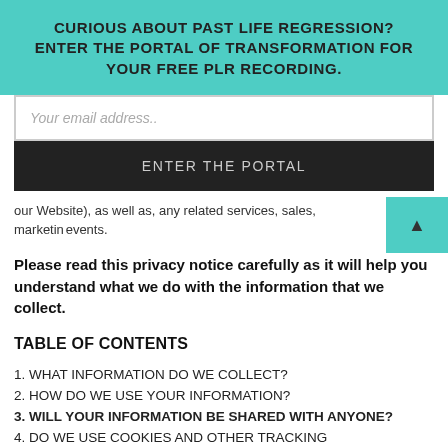CURIOUS ABOUT PAST LIFE REGRESSION? ENTER THE PORTAL OF TRANSFORMATION FOR YOUR FREE PLR RECORDING.
Your email address..
ENTER THE PORTAL
our Website), as well as, any related services, sales, marketing events.
Please read this privacy notice carefully as it will help you understand what we do with the information that we collect.
TABLE OF CONTENTS
1. WHAT INFORMATION DO WE COLLECT?
2. HOW DO WE USE YOUR INFORMATION?
3. WILL YOUR INFORMATION BE SHARED WITH ANYONE?
4. DO WE USE COOKIES AND OTHER TRACKING